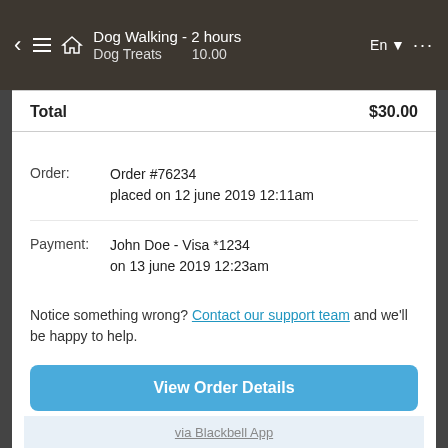Dog Walking - 2 hours   En  ...   Dog Treats   10.00
|  |  |
| --- | --- |
| Total | $30.00 |
Order:   Order #76234 placed on 12 june 2019 12:11am
Payment:   John Doe - Visa *1234 on 13 june 2019 12:23am
Notice something wrong? Contact our support team and we'll be happy to help.
View Order Details
Thanks for being a great customer.
via Blackbell App